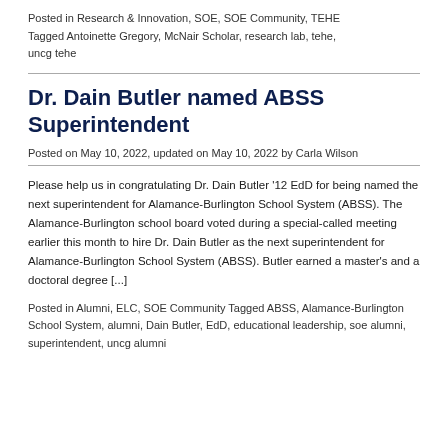Posted in Research & Innovation, SOE, SOE Community, TEHE Tagged Antoinette Gregory, McNair Scholar, research lab, tehe, uncg tehe
Dr. Dain Butler named ABSS Superintendent
Posted on May 10, 2022, updated on May 10, 2022 by Carla Wilson
Please help us in congratulating Dr. Dain Butler '12 EdD for being named the next superintendent for Alamance-Burlington School System (ABSS). The Alamance-Burlington school board voted during a special-called meeting earlier this month to hire Dr. Dain Butler as the next superintendent for Alamance-Burlington School System (ABSS). Butler earned a master's and a doctoral degree [...]
Posted in Alumni, ELC, SOE Community Tagged ABSS, Alamance-Burlington School System, alumni, Dain Butler, EdD, educational leadership, soe alumni, superintendent, uncg alumni